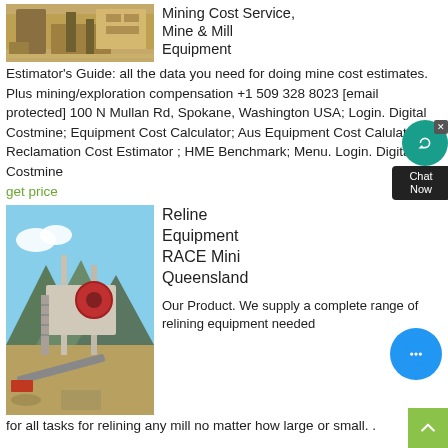[Figure (photo): Mining equipment / industrial plant site photo at top left]
Mining Cost Service, Mine & Mill Equipment Estimator's Guide: all the data you need for doing mine cost estimates. Plus mining/exploration compensation +1 509 328 8023 [email protected] 100 N Mullan Rd, Spokane, Washington USA; Login. Digital Costmine; Equipment Cost Calculator; Aus Equipment Cost Calulator; Reclamation Cost Estimator ; HME Benchmark; Menu. Login. Digital Costmine
get price
[Figure (photo): Mining plant with crusher equipment against mountain backdrop]
Reline Equipment RACE Mini Queensland
Our Product. We supply a complete range of relining equipment needed for all tasks for relining any mill no matter how large or small. .